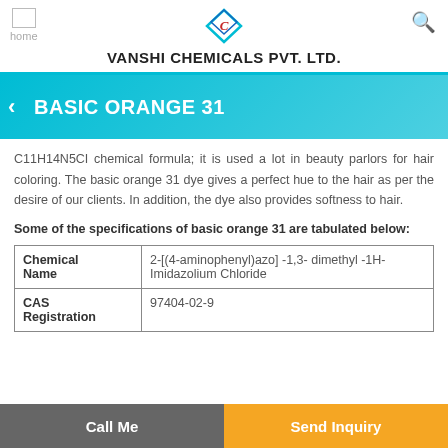VANSHI CHEMICALS PVT. LTD.
BASIC ORANGE 31
C11H14N5CI chemical formula; it is used a lot in beauty parlors for hair coloring. The basic orange 31 dye gives a perfect hue to the hair as per the desire of our clients. In addition, the dye also provides softness to hair.
Some of the specifications of basic orange 31 are tabulated below:
| Chemical Name |  |
| --- | --- |
| Chemical Name | 2-[(4-aminophenyl)azo] -1,3- dimethyl -1H-Imidazolium Chloride |
| CAS Registration | 97404-02-9 |
Call Me | Send Inquiry